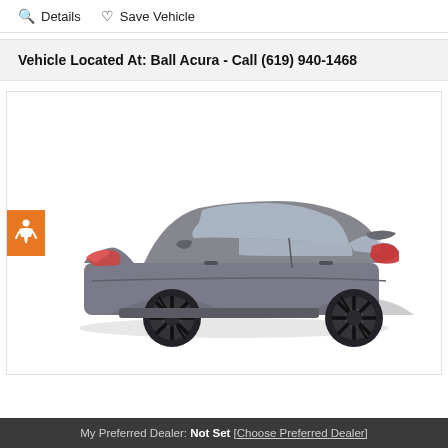Details   Save Vehicle
Vehicle Located At: Ball Acura - Call (619) 940-1468
[Figure (photo): Side profile view of a gray Acura sedan with black alloy wheels on a white background]
My Preferred Dealer: Not Set [Choose Preferred Dealer]